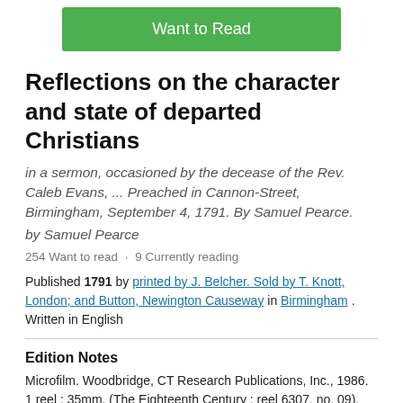[Figure (other): Green 'Want to Read' button]
Reflections on the character and state of departed Christians
in a sermon, occasioned by the decease of the Rev. Caleb Evans, ... Preached in Cannon-Street, Birmingham, September 4, 1791. By Samuel Pearce.
by Samuel Pearce
254 Want to read · 9 Currently reading
Published 1791 by printed by J. Belcher. Sold by T. Knott, London; and Button, Newington Causeway in Birmingham . Written in English
Edition Notes
Microfilm. Woodbridge, CT Research Publications, Inc., 1986. 1 reel ; 35mm. (The Eighteenth Century ; reel 6307, no. 09).
The Physical Object